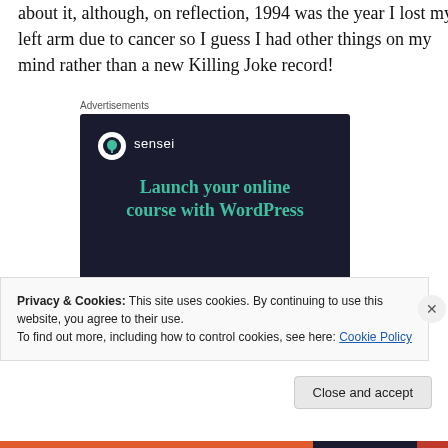about it, although, on reflection, 1994 was the year I lost my left arm due to cancer so I guess I had other things on my mind rather than a new Killing Joke record!
Advertisements
[Figure (other): Sensei advertisement with dark navy background. Logo: white circle with tree icon and 'sensei' text. Headline: 'Launch your online course with WordPress' in teal. Button: 'Learn More' in teal pill shape.]
Privacy & Cookies: This site uses cookies. By continuing to use this website, you agree to their use.
To find out more, including how to control cookies, see here: Cookie Policy
Close and accept